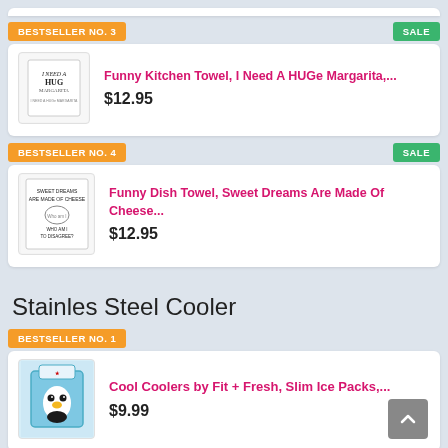BESTSELLER NO. 3
SALE
[Figure (photo): Kitchen towel with text 'I NEED A HUGe MARGARITA']
Funny Kitchen Towel, I Need A HUGe Margarita,...
$12.95
BESTSELLER NO. 4
SALE
[Figure (photo): Dish towel with text 'SWEET DREAMS ARE MADE OF CHEESE WHO AM I TO DISAGREE']
Funny Dish Towel, Sweet Dreams Are Made Of Cheese...
$12.95
Stainles Steel Cooler
BESTSELLER NO. 1
[Figure (photo): Cool Coolers by Fit + Fresh slim ice packs product photo]
Cool Coolers by Fit + Fresh, Slim Ice Packs,...
$9.99